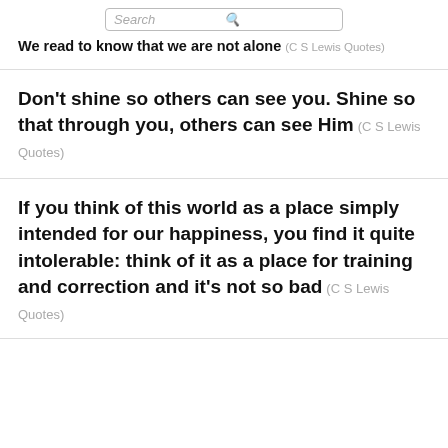Search
We read to know that we are not alone (C S Lewis Quotes)
Don't shine so others can see you. Shine so that through you, others can see Him (C S Lewis Quotes)
If you think of this world as a place simply intended for our happiness, you find it quite intolerable: think of it as a place for training and correction and it's not so bad (C S Lewis Quotes)